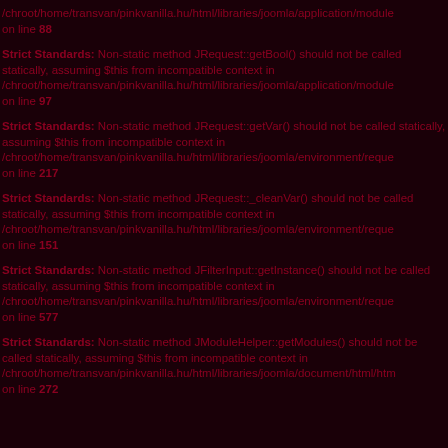/chroot/home/transvan/pinkvanilla.hu/html/libraries/joomla/application/module on line 88
Strict Standards: Non-static method JRequest::getBool() should not be called statically, assuming $this from incompatible context in /chroot/home/transvan/pinkvanilla.hu/html/libraries/joomla/application/module on line 97
Strict Standards: Non-static method JRequest::getVar() should not be called statically, assuming $this from incompatible context in /chroot/home/transvan/pinkvanilla.hu/html/libraries/joomla/environment/reque on line 217
Strict Standards: Non-static method JRequest::_cleanVar() should not be called statically, assuming $this from incompatible context in /chroot/home/transvan/pinkvanilla.hu/html/libraries/joomla/environment/reque on line 151
Strict Standards: Non-static method JFilterInput::getInstance() should not be called statically, assuming $this from incompatible context in /chroot/home/transvan/pinkvanilla.hu/html/libraries/joomla/environment/reque on line 577
Strict Standards: Non-static method JModuleHelper::getModules() should not be called statically, assuming $this from incompatible context in /chroot/home/transvan/pinkvanilla.hu/html/libraries/joomla/document/html/htm on line 272